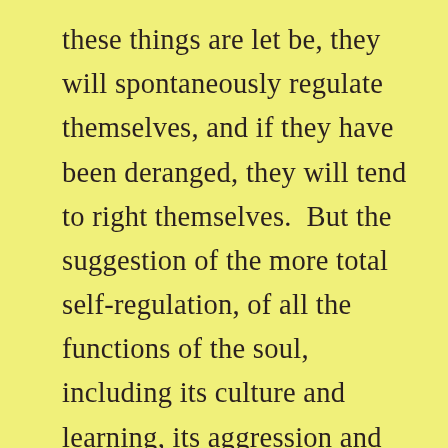these things are let be, they will spontaneously regulate themselves, and if they have been deranged, they will tend to right themselves.  But the suggestion of the more total self-regulation, of all the functions of the soul, including its culture and learning, its aggression and doing the work